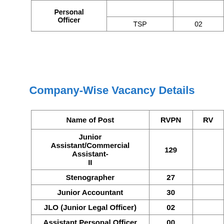| Personal Officer |  |  |
| --- | --- | --- |
| Personal Officer | TSP | 02 |
Company-Wise Vacancy Details
| Name of Post | RVPN | RV |
| --- | --- | --- |
| Junior Assistant/Commercial Assistant-II | 129 |  |
| Stenographer | 27 |  |
| Junior Accountant | 30 |  |
| JLO (Junior Legal Officer) | 02 |  |
| Assistant Personal Officer | 00 |  |